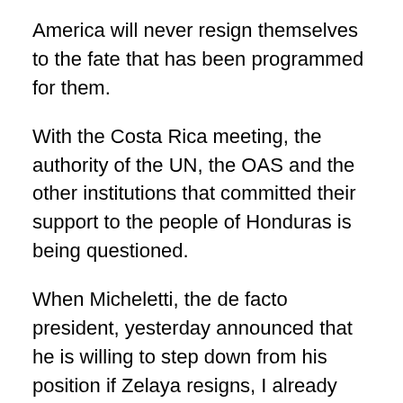America will never resign themselves to the fate that has been programmed for them.
With the Costa Rica meeting, the authority of the UN, the OAS and the other institutions that committed their support to the people of Honduras is being questioned.
When Micheletti, the de facto president, yesterday announced that he is willing to step down from his position if Zelaya resigns, I already knew that the State Department and the military in the coup had agreed to replace him and send him again to Congress as part of the manoeuvre.
The only correct thing to do at this moment is to demand that the government of the United States ceases its intervention, stops giving military aid to the coup and pulls